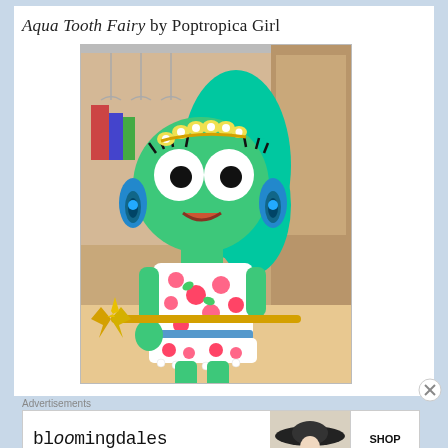Aqua Tooth Fairy by Poptropica Girl
[Figure (illustration): Cartoon Poptropica character: a green frog-like girl with teal hair, flower crown, peacock feather earrings, floral dress, golden scepter, and gold ankle bracelets, standing in a room background.]
Advertisements
[Figure (screenshot): Bloomingdale's advertisement banner: 'bloomingdales - View Today's Top Deals!' with a woman in a hat and 'SHOP NOW >' button.]